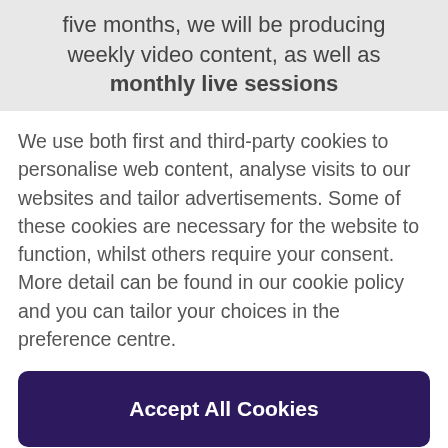five months, we will be producing weekly video content, as well as monthly live sessions
We use both first and third-party cookies to personalise web content, analyse visits to our websites and tailor advertisements. Some of these cookies are necessary for the website to function, whilst others require your consent. More detail can be found in our cookie policy and you can tailor your choices in the preference centre.
Accept All Cookies
Cookies Settings